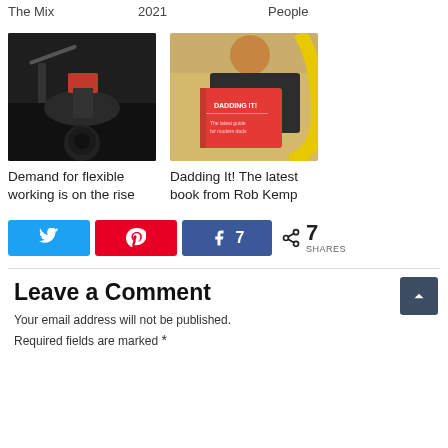The Mix  2021  People
[Figure (photo): Photo of a recording studio session with musicians and equipment]
Demand for flexible working is on the rise
[Figure (photo): Man reading a red book titled 'Dadding It!']
Dadding It! The latest book from Rob Kemp
[Figure (infographic): Social share buttons: Twitter, Pinterest, Facebook (7 shares), and total share count of 7 SHARES]
Leave a Comment
Your email address will not be published. Required fields are marked *